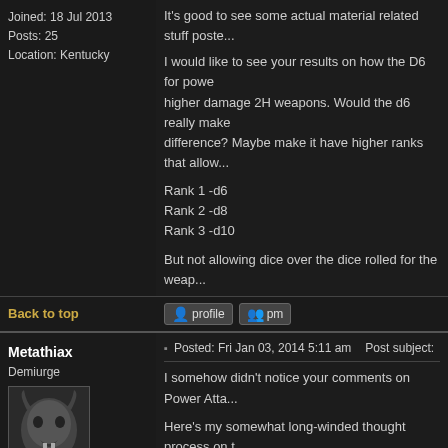Joined: 18 Jul 2013
Posts: 25
Location: Kentucky
It's good to see some actual material related stuff poste...
I would like to see your results on how the D6 for powe... higher damage 2H weapons. Would the d6 really make... difference? Maybe make it have higher ranks that allow...
Rank 1 -d6
Rank 2 -d8
Rank 3 -d10
But not allowing dice over the dice rolled for the weap...
Back to top
Metathiax
Demiurge
Joined: 02 Oct 2010
Posts: 321
Location: Montreal, Canada
Posted: Fri Jan 03, 2014 5:11 am    Post subject:
I somehow didn't notice your comments on Power Atta...
Here's my somewhat long-winded thought process on t... what you think.
This discipline's main idea was to give two-handed wea... while trying to keep it balanced and different to the oth... disciplines such as Bash (3 skill points; -3 to-hit & +2 c... round), Greatstrike (6 skill points; max damage once pe... Mastery (4 skill points for 1st rank; +1 to-hit & +1 dam...